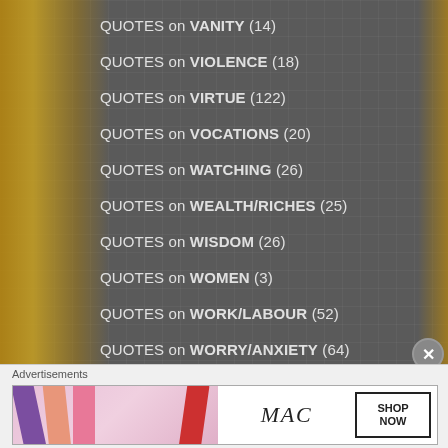QUOTES on VANITY (14)
QUOTES on VIOLENCE (18)
QUOTES on VIRTUE (122)
QUOTES on VOCATIONS (20)
QUOTES on WATCHING (26)
QUOTES on WEALTH/RICHES (25)
QUOTES on WISDOM (26)
QUOTES on WOMEN (3)
QUOTES on WORK/LABOUR (52)
QUOTES on WORRY/ANXIETY (64)
QUOTES on ZEAL (16)
Advertisements
[Figure (photo): MAC cosmetics advertisement showing lipsticks in purple, peach, pink and red colors beside MAC logo with SHOP NOW button]